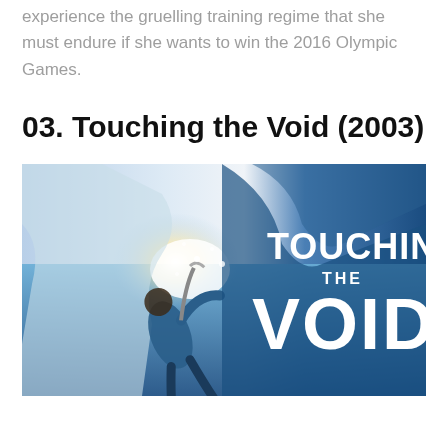experience the gruelling training regime that she must endure if she wants to win the 2016 Olympic Games.
03. Touching the Void (2003)
[Figure (photo): Movie poster for 'Touching the Void' (2003) showing a climber on an icy mountainside with dramatic blue tones and the title text 'TOUCHING THE VOID' in large white letters.]